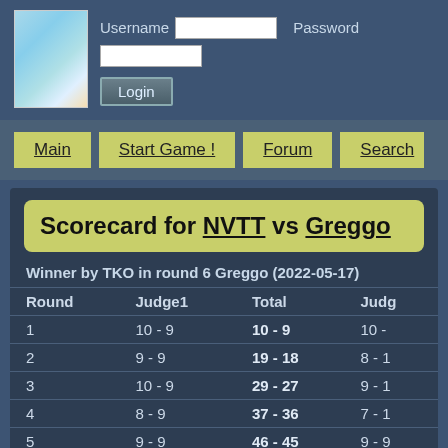[Figure (illustration): Blue feathery/abstract logo image in top left corner]
Username [input field]   Password [input field]
Login
Main | Start Game ! | Forum | Search
Scorecard for NVTT vs Greggo
Winner by TKO in round 6 Greggo (2022-05-17)
| Round | Judge1 | Total | Judg... |
| --- | --- | --- | --- |
| 1 | 10 - 9 | 10 - 9 | 10 - |
| 2 | 9 - 9 | 19 - 18 | 8 - 1 |
| 3 | 10 - 9 | 29 - 27 | 9 - 1 |
| 4 | 8 - 9 | 37 - 36 | 7 - 1 |
| 5 | 9 - 9 | 46 - 45 | 9 - 9 |
| 6 | 8 - 10 | 54 - 55 | 8 - 1 |
View fight